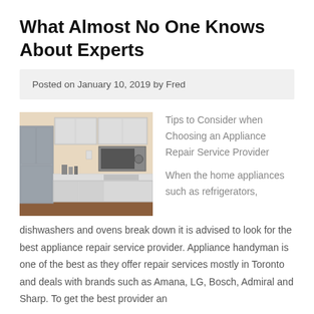What Almost No One Knows About Experts
Posted on January 10, 2019 by Fred
[Figure (photo): Kitchen interior showing white cabinets, refrigerator, microwave, and countertop with sink]
Tips to Consider when Choosing an Appliance Repair Service Provider
When the home appliances such as refrigerators, dishwashers and ovens break down it is advised to look for the best appliance repair service provider. Appliance handyman is one of the best as they offer repair services mostly in Toronto and deals with brands such as Amana, LG, Bosch, Admiral and Sharp. To get the best provider an